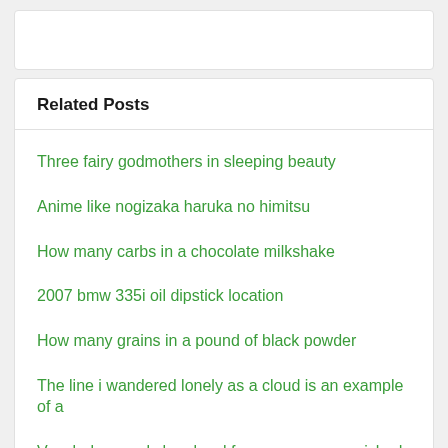Related Posts
Three fairy godmothers in sleeping beauty
Anime like nogizaka haruka no himitsu
How many carbs in a chocolate milkshake
2007 bmw 335i oil dipstick location
How many grains in a pound of black powder
The line i wandered lonely as a cloud is an example of a
Vocabulary workshop level f common core enriched edition answers